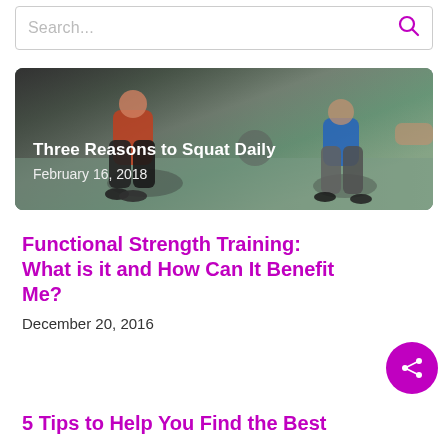Search...
[Figure (photo): People doing squats in a gym setting, viewed from behind/side. Two people visible squatting with gym equipment in background.]
Three Reasons to Squat Daily
February 16, 2018
Functional Strength Training: What is it and How Can It Benefit Me?
December 20, 2016
5 Tips to Help You Find the Best